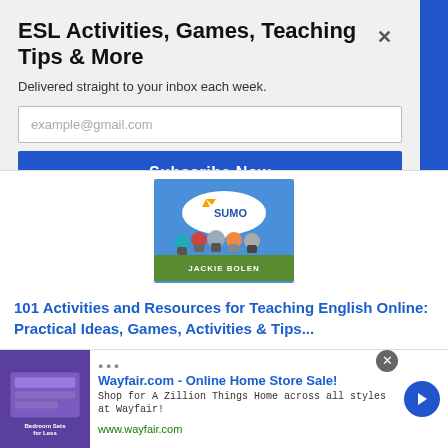ESL Activities, Games, Teaching Tips & More
Delivered straight to your inbox each week.
example@gmail.com
Subscribe Now
[Figure (illustration): Book cover for 101 Activities and Resources for Teaching English Online by Jackie Bolen, with SUMO badge and illustrated characters]
101 Activities and Resources for Teaching English Online: Practical Ideas, Games, Activities & Tips...
[Figure (other): 4 out of 5 star rating]
[Figure (infographic): Wayfair advertisement banner: Wayfair.com - Online Home Store Sale! Shop for A Zillion Things Home across all styles at Wayfair! www.wayfair.com]